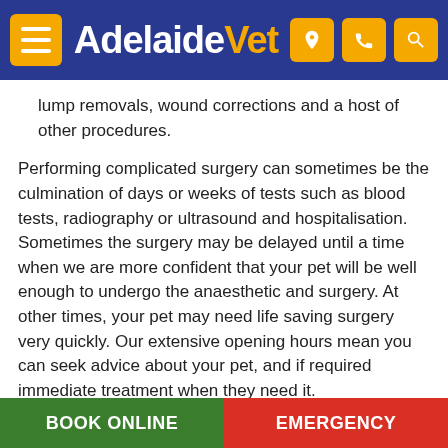AdelaideVet
lump removals, wound corrections and a host of other procedures.
Performing complicated surgery can sometimes be the culmination of days or weeks of tests such as blood tests, radiography or ultrasound and hospitalisation. Sometimes the surgery may be delayed until a time when we are more confident that your pet will be well enough to undergo the anaesthetic and surgery. At other times, your pet may need life saving surgery very quickly. Our extensive opening hours mean you can seek advice about your pet, and if required immediate treatment when they need it.
Prior to surgery
BOOK ONLINE   EMERGENCY